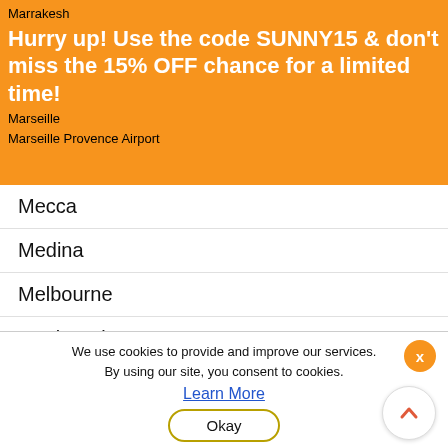Marrakesh
Hurry up! Use the code SUNNY15 & don't miss the 15% OFF chance for a limited time!
Marseille
Marseille Provence Airport
Mecca
Medina
Melbourne
Mexico City
Mexico Pocket WiFi
Miami
Milan
Milos Island
Mineralnye Vody Airport
We use cookies to provide and improve our services. By using our site, you consent to cookies.
Learn More
Okay